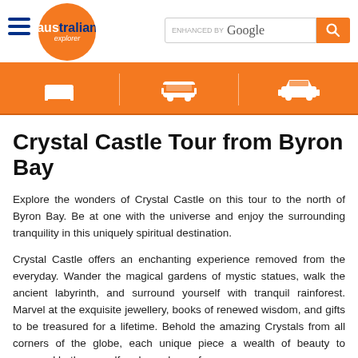australian explorer | ENHANCED BY Google
[Figure (logo): Australian Explorer logo with orange circle, hamburger menu, and Google search bar]
Crystal Castle Tour from Byron Bay
Explore the wonders of Crystal Castle on this tour to the north of Byron Bay. Be at one with the universe and enjoy the surrounding tranquility in this uniquely spiritual destination.
Crystal Castle offers an enchanting experience removed from the everyday. Wander the magical gardens of mystic statues, walk the ancient labyrinth, and surround yourself with tranquil rainforest. Marvel at the exquisite jewellery, books of renewed wisdom, and gifts to be treasured for a lifetime. Behold the amazing Crystals from all corners of the globe, each unique piece a wealth of beauty to surround both yourself and your home forever.